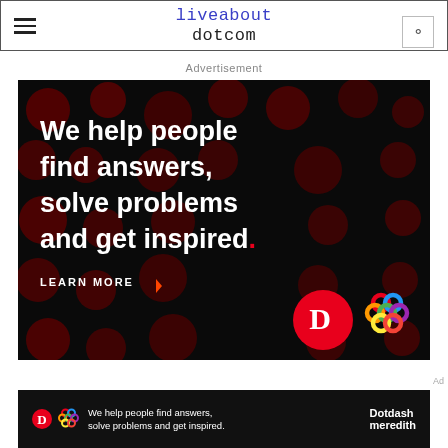liveabout dotcom
Advertisement
[Figure (illustration): Dotdash Meredith advertisement on dark background with red dots pattern. Text reads: We help people find answers, solve problems and get inspired. LEARN MORE. Logos: Dotdash (D in red circle) and Meredith (colorful knot logo).]
[Figure (illustration): Bottom sticky ad bar: We help people find answers, solve problems and get inspired. Dotdash Meredith logos.]